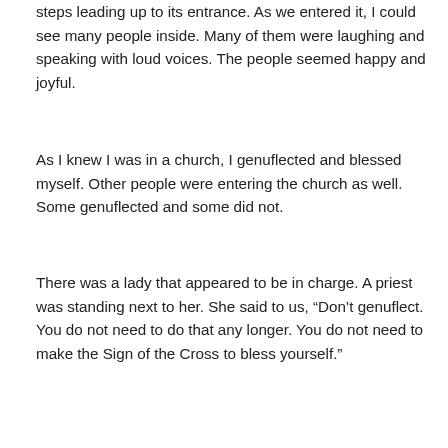steps leading up to its entrance. As we entered it, I could see many people inside. Many of them were laughing and speaking with loud voices. The people seemed happy and joyful.
As I knew I was in a church, I genuflected and blessed myself. Other people were entering the church as well. Some genuflected and some did not.
There was a lady that appeared to be in charge. A priest was standing next to her. She said to us, “Don’t genuflect. You do not need to do that any longer. You do not need to make the Sign of the Cross to bless yourself.”